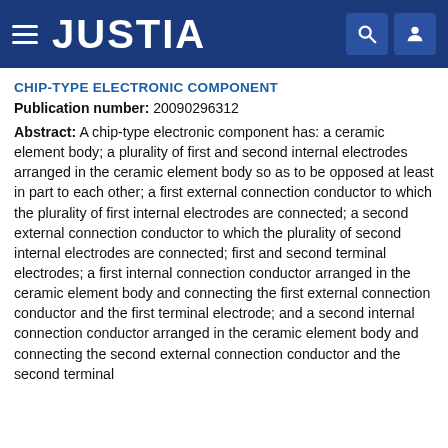JUSTIA
CHIP-TYPE ELECTRONIC COMPONENT
Publication number: 20090296312
Abstract: A chip-type electronic component has: a ceramic element body; a plurality of first and second internal electrodes arranged in the ceramic element body so as to be opposed at least in part to each other; a first external connection conductor to which the plurality of first internal electrodes are connected; a second external connection conductor to which the plurality of second internal electrodes are connected; first and second terminal electrodes; a first internal connection conductor arranged in the ceramic element body and connecting the first external connection conductor and the first terminal electrode; and a second internal connection conductor arranged in the ceramic element body and connecting the second external connection conductor and the second terminal